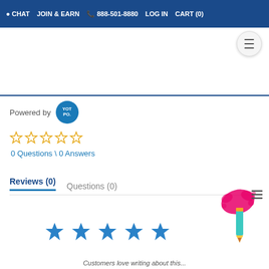CHAT  JOIN & EARN  888-501-8880  LOG IN  CART (0)
[Figure (screenshot): Hamburger menu button (three horizontal lines) in a circular button on the top right]
[Figure (logo): Powered by YOTPO badge (blue circle with YOT PO. text)]
Powered by
[Figure (other): Five empty star rating icons in yellow/gold outline]
0 Questions \ 0 Answers
Reviews (0)   Questions (0)
[Figure (illustration): Pencil with pink paint splash illustration in bottom right corner]
[Figure (other): Five solid blue star icons centered on the page bottom area]